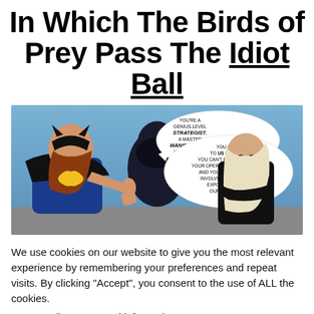In Which The Birds of Prey Pass The Idiot Ball
[Figure (illustration): Comic book panel showing Batgirl in blue costume pointing at a shadowed figure, with Black Canary in black outfit on the right. Speech bubbles: left bubble reads 'YOU'RE A GENIUS-LEVEL STRATEGIST. A MASTER MANIPULATOR. YOU CAN'T BE TRUSTED.' Right bubble reads 'YOU CAME TO US BECAUSE YOU CAN'T RISK EXPOSING YOUR OPERATION TO THE COPS. AND YOU KNOW WE CAN'T INVOLVE GCPD WITHOUT EXPOSING GUS OR OUR IDENTITIES.']
We use cookies on our website to give you the most relevant experience by remembering your preferences and repeat visits. By clicking “Accept”, you consent to the use of ALL the cookies.
Do not sell my personal information.
Cookie Settings | Accept